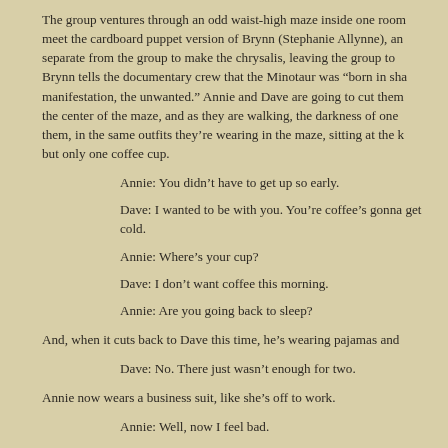The group ventures through an odd waist-high maze inside one room meet the cardboard puppet version of Brynn (Stephanie Allynne), an separate from the group to make the chrysalis, leaving the group to Brynn tells the documentary crew that the Minotaur was "born in sha manifestation, the unwanted." Annie and Dave are going to cut them the center of the maze, and as they are walking, the darkness of one them, in the same outfits they're wearing in the maze, sitting at the k but only one coffee cup.
Annie: You didn't have to get up so early.
Dave: I wanted to be with you. You're coffee's gonna get cold.
Annie: Where's your cup?
Dave: I don't want coffee this morning.
Annie: Are you going back to sleep?
And, when it cuts back to Dave this time, he's wearing pajamas and
Dave: No. There just wasn't enough for two.
Annie now wears a business suit, like she's off to work.
Annie: Well, now I feel bad.
Dave: Don't feel bad. Just have your coffee.
Annie: Here have some.